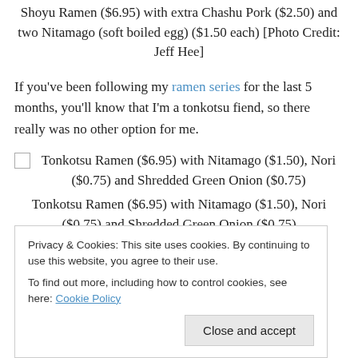Shoyu Ramen ($6.95) with extra Chashu Pork ($2.50) and two Nitamago (soft boiled egg) ($1.50 each) [Photo Credit: Jeff Hee]
If you've been following my ramen series for the last 5 months, you'll know that I'm a tonkotsu fiend, so there really was no other option for me.
[Figure (photo): Image placeholder for Tonkotsu Ramen ($6.95) with Nitamago ($1.50), Nori ($0.75) and Shredded Green Onion ($0.75)]
Tonkotsu Ramen ($6.95) with Nitamago ($1.50), Nori ($0.75) and Shredded Green Onion ($0.75)
Privacy & Cookies: This site uses cookies. By continuing to use this website, you agree to their use.
To find out more, including how to control cookies, see here: Cookie Policy